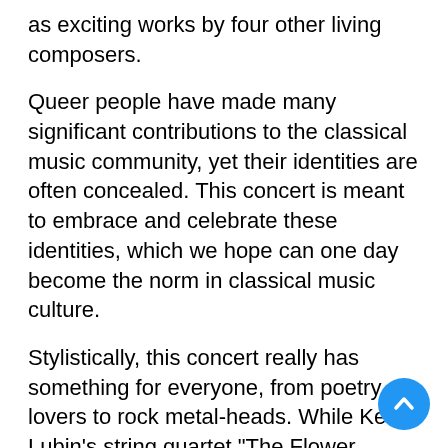as exciting works by four other living composers.
Queer people have made many significant contributions to the classical music community, yet their identities are often concealed. This concert is meant to embrace and celebrate these identities, which we hope can one day become the norm in classical music culture.
Stylistically, this concert really has something for everyone, from poetry lovers to rock metal-heads. While Kevin Lubin's string quartet "The Flower Shop" includes a spoken narration with words by Virginia Woolf; Hannah Rice has written a Heavy Metal string quartet called "SQ666," which has been composed using techniques from heavy metal rock music.
This concert also features a variety of ensemble sizes, varying from string quartets all the way up to large ensemble works conducted by LCO's music director Orlando Cela. Steven Sérpa's "An Invocation," for solo oboe and strings, is a tone poem inspired by his long-time collaborator, queer poet Jeffery Beam, about the